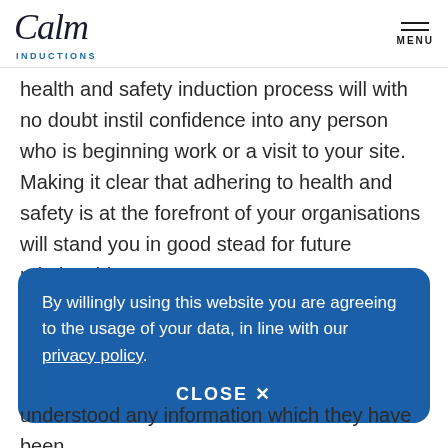Calm Inductions | MENU
health and safety induction process will with no doubt instil confidence into any person who is beginning work or a visit to your site. Making it clear that adhering to health and safety is at the forefront of your organisations will stand you in good stead for future relationships.
By willingly using this website you are agreeing to the usage of your data, in line with our privacy policy. CLOSE X
understood any information which they have been